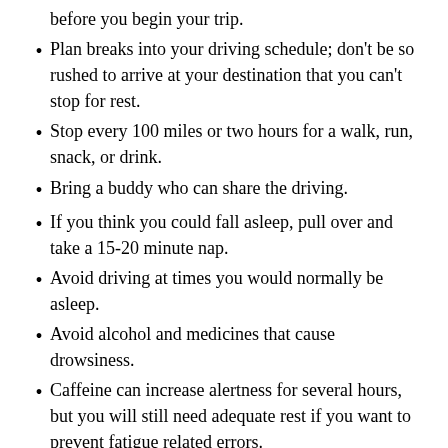before you begin your trip.
Plan breaks into your driving schedule; don't be so rushed to arrive at your destination that you can't stop for rest.
Stop every 100 miles or two hours for a walk, run, snack, or drink.
Bring a buddy who can share the driving.
If you think you could fall asleep, pull over and take a 15-20 minute nap.
Avoid driving at times you would normally be asleep.
Avoid alcohol and medicines that cause drowsiness.
Caffeine can increase alertness for several hours, but you will still need adequate rest if you want to prevent fatigue related errors.